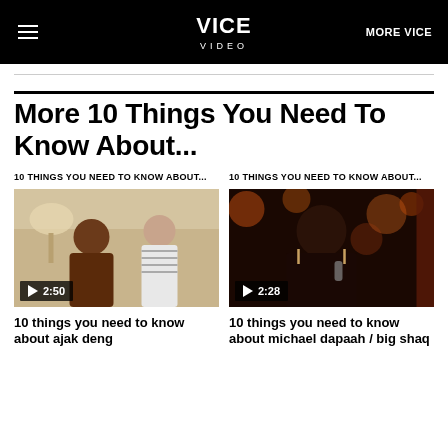VICE VIDEO MORE VICE
More 10 Things You Need To Know About...
10 THINGS YOU NEED TO KNOW ABOUT...
[Figure (photo): Two people in conversation, one pointing upward, indoor setting with lamp]
10 things you need to know about ajak deng
10 THINGS YOU NEED TO KNOW ABOUT...
[Figure (photo): Woman at event, bokeh background with warm orange/gold lights]
10 things you need to know about michael dapaah / big shaq